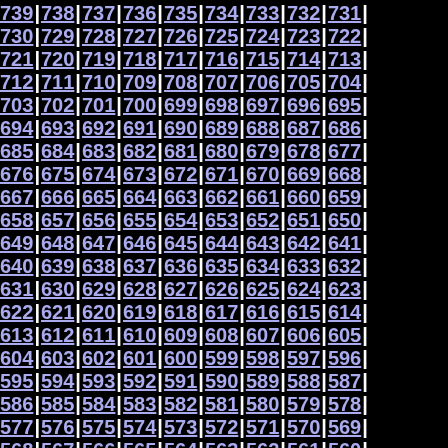739 | 738 | 737 | 736 | 735 | 734 | 733 | 732 | 731 | 730 | 729 | 728 | 727 | 726 | 725 | 724 | 723 | 722 | 721 | 720 | 719 | 718 | 717 | 716 | 715 | 714 | 713 | 712 | 711 | 710 | 709 | 708 | 707 | 706 | 705 | 704 | 703 | 702 | 701 | 700 | 699 | 698 | 697 | 696 | 695 | 694 | 693 | 692 | 691 | 690 | 689 | 688 | 687 | 686 | 685 | 684 | 683 | 682 | 681 | 680 | 679 | 678 | 677 | 676 | 675 | 674 | 673 | 672 | 671 | 670 | 669 | 668 | 667 | 666 | 665 | 664 | 663 | 662 | 661 | 660 | 659 | 658 | 657 | 656 | 655 | 654 | 653 | 652 | 651 | 650 | 649 | 648 | 647 | 646 | 645 | 644 | 643 | 642 | 641 | 640 | 639 | 638 | 637 | 636 | 635 | 634 | 633 | 632 | 631 | 630 | 629 | 628 | 627 | 626 | 625 | 624 | 623 | 622 | 621 | 620 | 619 | 618 | 617 | 616 | 615 | 614 | 613 | 612 | 611 | 610 | 609 | 608 | 607 | 606 | 605 | 604 | 603 | 602 | 601 | 600 | 599 | 598 | 597 | 596 | 595 | 594 | 593 | 592 | 591 | 590 | 589 | 588 | 587 | 586 | 585 | 584 | 583 | 582 | 581 | 580 | 579 | 578 | 577 | 576 | 575 | 574 | 573 | 572 | 571 | 570 | 569 | 568 | 567 | 566 | 565 | 564 | 563 | 562 | 561 | 560 | 559 | 558 | 557 | 556 | 555 | 554 | 553 | 552 | 551